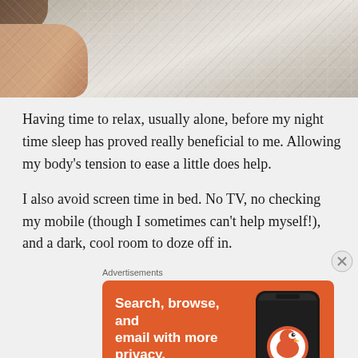[Figure (photo): Close-up photo of a person wrapped in white blanket or robe, partial skin visible, soft fabric texture]
Having time to relax, usually alone, before my night time sleep has proved really beneficial to me. Allowing my body’s tension to ease a little does help.
I also avoid screen time in bed. No TV, no checking my mobile (though I sometimes can’t help myself!), and a dark, cool room to doze off in.
[Figure (screenshot): DuckDuckGo advertisement banner on orange background: Search, browse, and email with more privacy. All in One Free App. Shows phone with DuckDuckGo app icon.]